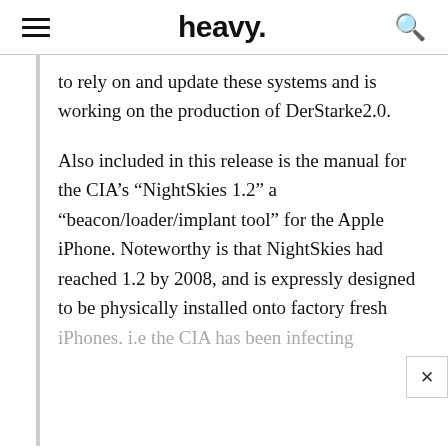heavy.
to rely on and update these systems and is working on the production of DerStarke2.0.
Also included in this release is the manual for the CIA’s “NightSkies 1.2” a “beacon/loader/implant tool” for the Apple iPhone. Noteworthy is that NightSkies had reached 1.2 by 2008, and is expressly designed to be physically installed onto factory fresh iPhones. i.e the CIA has been infecting